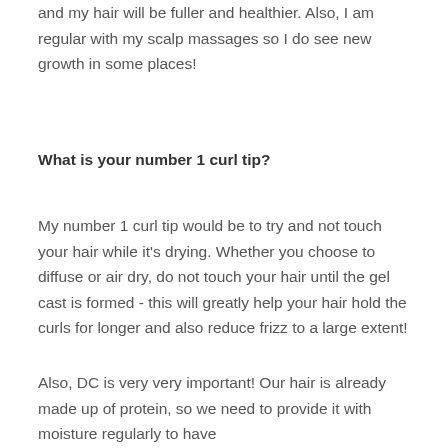and my hair will be fuller and healthier. Also, I am regular with my scalp massages so I do see new growth in some places!
What is your number 1 curl tip?
My number 1 curl tip would be to try and not touch your hair while it’s drying. Whether you choose to diffuse or air dry, do not touch your hair until the gel cast is formed - this will greatly help your hair hold the curls for longer and also reduce frizz to a large extent!
Also, DC is very very important! Our hair is already made up of protein, so we need to provide it with moisture regularly to have